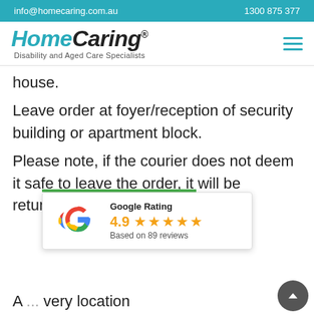info@homecaring.com.au    1300 875 377
[Figure (logo): HomeCaring logo with text 'Disability and Aged Care Specialists' and hamburger menu icon]
house.
Leave order at foyer/reception of security building or apartment block.
Please note, if the courier does not deem it safe to leave the order, it will be returned to dispatch.
[Figure (infographic): Google Rating popup showing 4.9 stars based on 89 reviews, with Google G logo and green progress bar]
A ... very location